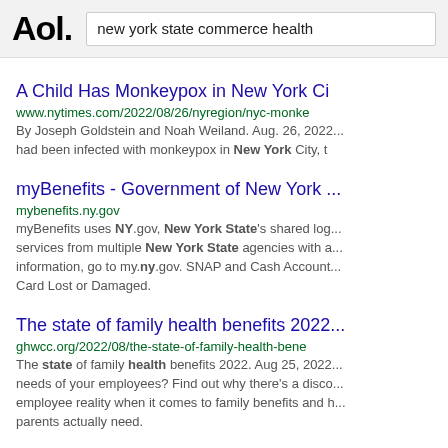Aol. | new york state commerce health
A Child Has Monkeypox in New York Ci...
www.nytimes.com/2022/08/26/nyregion/nyc-monke...
By Joseph Goldstein and Noah Weiland. Aug. 26, 2022... had been infected with monkeypox in New York City, t...
myBenefits - Government of New York ...
mybenefits.ny.gov
myBenefits uses NY.gov, New York State's shared log... services from multiple New York State agencies with a... information, go to my.ny.gov. SNAP and Cash Account... Card Lost or Damaged.
The state of family health benefits 2022...
ghwcc.org/2022/08/the-state-of-family-health-bene...
The state of family health benefits 2022. Aug 25, 2022... needs of your employees? Find out why there's a disco... employee reality when it comes to family benefits and h... parents actually need.